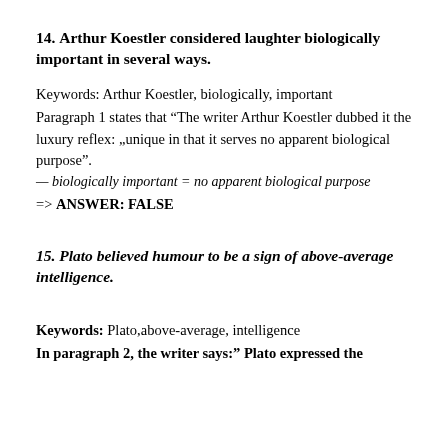14. Arthur Koestler considered laughter biologically important in several ways.
Keywords: Arthur Koestler, biologically, important
Paragraph 1 states that “The writer Arthur Koestler dubbed it the luxury reflex: „uique in that it serves no apparent biological purpose”.
— biologically important = no apparent biological purpose
=> ANSWER: FALSE
15. Plato believed humour to be a sign of above-average intelligence.
Keywords: Plato,above-average, intelligence
In paragraph 2, the writer says:” Plato expressed the